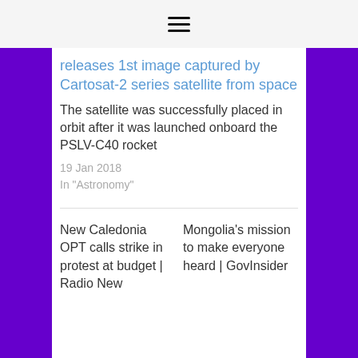≡
releases 1st image captured by Cartosat-2 series satellite from space
The satellite was successfully placed in orbit after it was launched onboard the PSLV-C40 rocket
19 Jan 2018
In "Astronomy"
New Caledonia OPT calls strike in protest at budget | Radio New
Mongolia's mission to make everyone heard | GovInsider